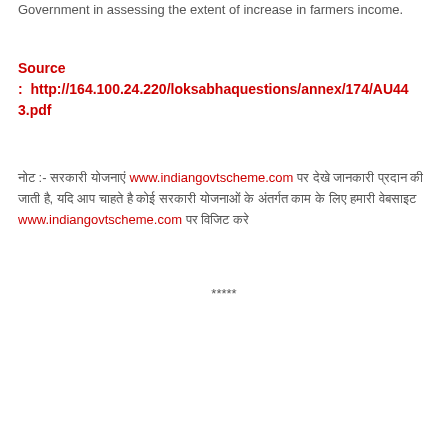Government in assessing the extent of increase in farmers income.
Source : http://164.100.24.220/loksabhaquestions/annex/174/AU443.pdf
नोट :- सरकारी योजनाएं www.indiangovtscheme.com पर देखे जानकारी प्रदान की जाती है, यदि आप चाहते है कोई सरकारी योजनाओं के अंतर्गत काम के लिए हमारी वेबसाइट www.indiangovtscheme.com पर विजिट करे
*****